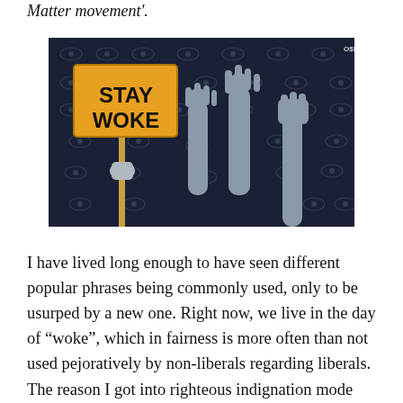Matter movement'.
[Figure (illustration): Illustration of raised hands/fists, one holding a yellow sign reading 'STAY WOKE' on a dark background with eye patterns. Logo 'O89KPCC' in top right corner.]
I have lived long enough to have seen different popular phrases being commonly used, only to be usurped by a new one. Right now, we live in the day of “woke”, which in fairness is more often than not used pejoratively by non-liberals regarding liberals. The reason I got into righteous indignation mode was